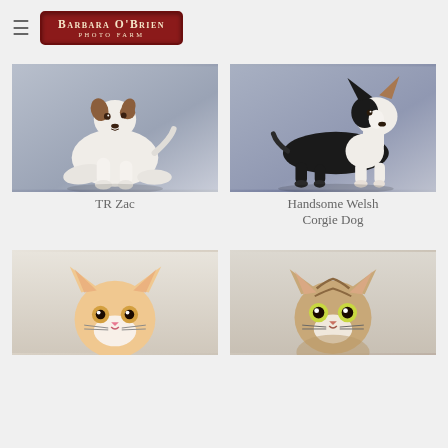Barbara O'Brien Photo Farm
[Figure (photo): Jack Russell Terrier dog (TR Zac) sitting against grey background]
TR Zac
[Figure (photo): Handsome Welsh Corgi dog standing in profile against grey background]
Handsome Welsh Corgie Dog
[Figure (photo): Orange and white cat face looking at camera against light background]
[Figure (photo): Tabby cat sitting and looking at camera against light background]